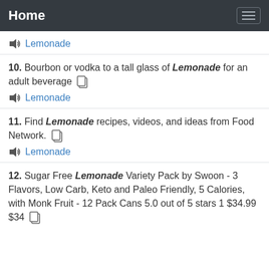Home
Lemonade (audio link)
10. Bourbon or vodka to a tall glass of Lemonade for an adult beverage
Lemonade (audio link)
11. Find Lemonade recipes, videos, and ideas from Food Network.
Lemonade (audio link)
12. Sugar Free Lemonade Variety Pack by Swoon - 3 Flavors, Low Carb, Keto and Paleo Friendly, 5 Calories, with Monk Fruit - 12 Pack Cans 5.0 out of 5 stars 1 $34.99 $34